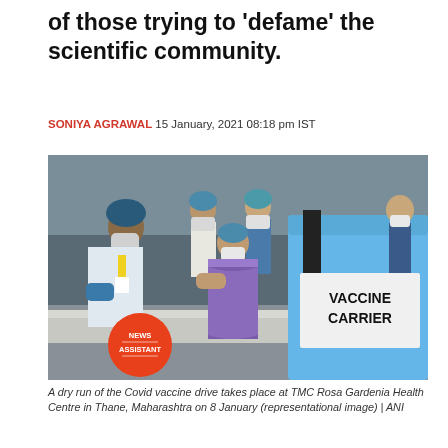of those trying to 'defame' the scientific community.
SONIYA AGRAWAL 15 January, 2021 08:18 pm IST
[Figure (photo): A dry run of the Covid vaccine drive at TMC Rosa Gardenia Health Centre in Thane, Maharashtra. A healthcare worker administers a vaccine to a woman in a saree and mask, while nurses in uniforms and masks look on. On the right is a blue vaccine carrier box. A News Assistant orange circle badge is visible in the lower left.]
A dry run of the Covid vaccine drive takes place at TMC Rosa Gardenia Health Centre in Thane, Maharashtra on 8 January (representational image) | ANI